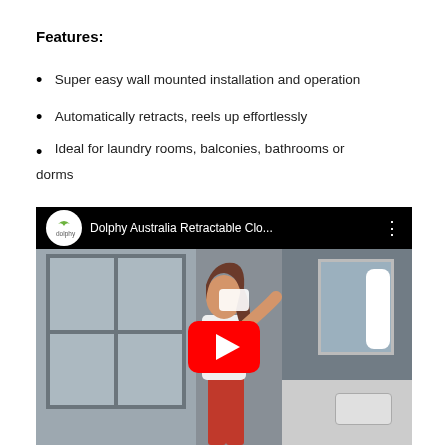Features:
Super easy wall mounted installation and operation
Automatically retracts, reels up effortlessly
Ideal for laundry rooms, balconies, bathrooms or dorms
[Figure (screenshot): YouTube video thumbnail showing a woman in a bathroom using a Dolphy Australia Retractable Clothesline product. The video is titled 'Dolphy Australia Retractable Clo...' with a YouTube play button overlay.]